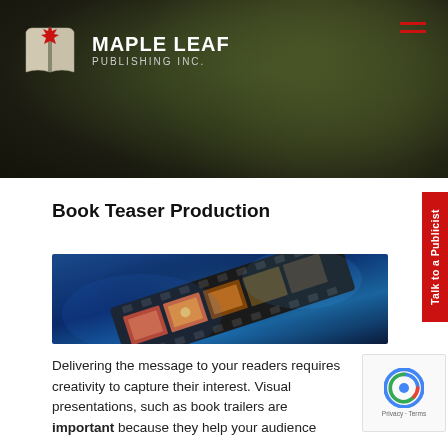[Figure (logo): Maple Leaf Publishing Inc. logo: open book with red maple leaf, white text on dark hero background]
[Figure (photo): Film strip with blue lighting and colorful frames, representing book teaser/trailer production]
Book Teaser Production
Delivering the message to your readers requires creativity to capture their interest. Visual presentations, such as book trailers are important because they help your audience